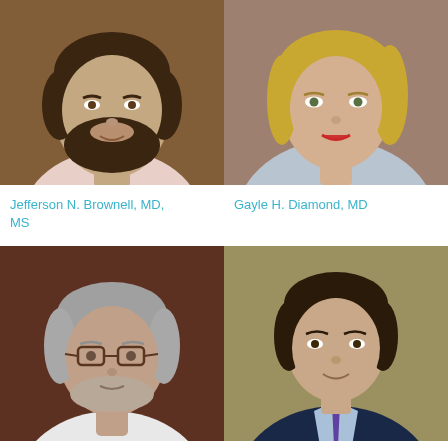[Figure (photo): Headshot of Jefferson N. Brownell, MD, MS — young man with dark beard and hair, wearing a light pink/white striped shirt, brown background]
Jefferson N. Brownell, MD, MS
[Figure (photo): Headshot of Gayle H. Diamond, MD — woman with blonde hair, wearing a light blue/grey collared shirt, brownish background]
Gayle H. Diamond, MD
[Figure (photo): Headshot of older man with grey hair and glasses, wearing a white shirt, dark reddish-brown background]
[Figure (photo): Headshot of younger man with dark hair, wearing a navy suit, light blue shirt and tie, olive/tan background]